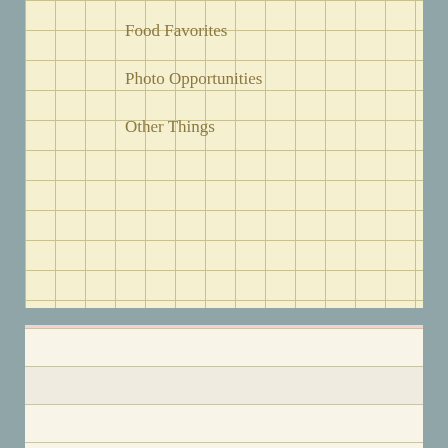Food Favorites
Photo Opportunities
Other Things
Archives
Select Month